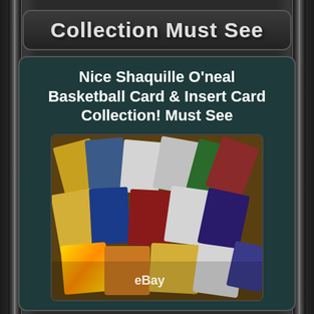Collection Must See
Nice Shaquille O'neal Basketball Card & Insert Card Collection! Must See
[Figure (photo): A collection of Shaquille O'Neal basketball cards and insert cards spread out, showing various colorful trading cards including chrome/foil cards and standard cards, with an eBay watermark overlay.]
More info on eBay